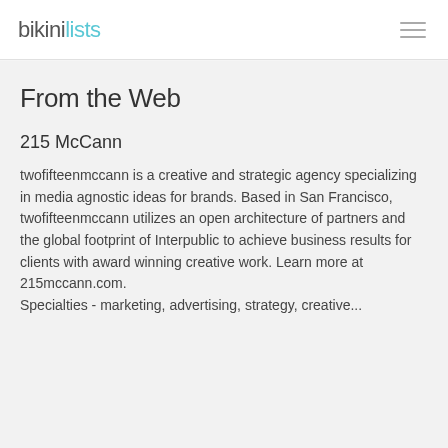bikinilists
From the Web
215 McCann
twofifteenmccann is a creative and strategic agency specializing in media agnostic ideas for brands. Based in San Francisco, twofifteenmccann utilizes an open architecture of partners and the global footprint of Interpublic to achieve business results for clients with award winning creative work. Learn more at 215mccann.com.
Specialties - marketing, advertising, strategy, creative...